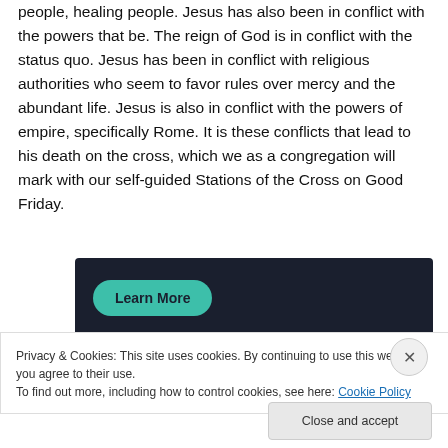people, healing people. Jesus has also been in conflict with the powers that be. The reign of God is in conflict with the status quo. Jesus has been in conflict with religious authorities who seem to favor rules over mercy and the abundant life. Jesus is also in conflict with the powers of empire, specifically Rome. It is these conflicts that lead to his death on the cross, which we as a congregation will mark with our self-guided Stations of the Cross on Good Friday.
[Figure (screenshot): Dark banner with a teal 'Learn More' button]
Privacy & Cookies: This site uses cookies. By continuing to use this website, you agree to their use.
To find out more, including how to control cookies, see here: Cookie Policy
Close and accept